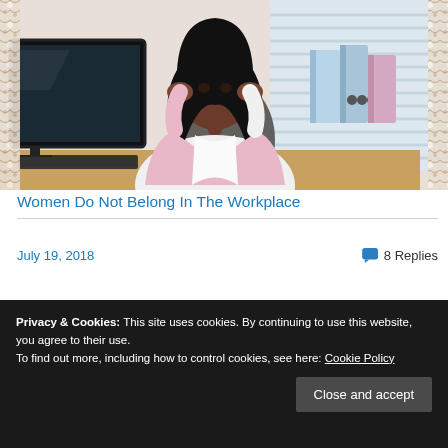[Figure (photo): A Black woman sitting at an office desk in front of a computer monitor, holding her hands to her temples with a stressed or frustrated expression. She is wearing a white long-sleeve shirt and pink blazer. In the background are binders and blinds. The photo has a decorative lace-style border on both sides.]
Women Do Not Belong In The Workplace
July 19, 2018    💬 8 Replies
Privacy & Cookies: This site uses cookies. By continuing to use this website, you agree to their use.
To find out more, including how to control cookies, see here: Cookie Policy
Close and accept